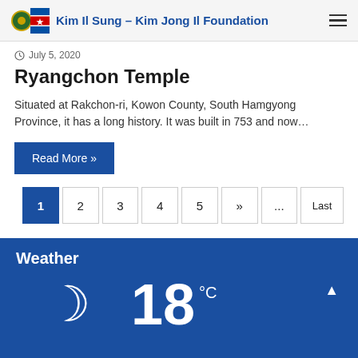Kim Il Sung – Kim Jong Il Foundation
July 5, 2020
Ryangchon Temple
Situated at Rakchon-ri, Kowon County, South Hamgyong Province, it has a long history. It was built in 753 and now...
Read More »
1  2  3  4  5  »  ...  Last
Weather
18 °C